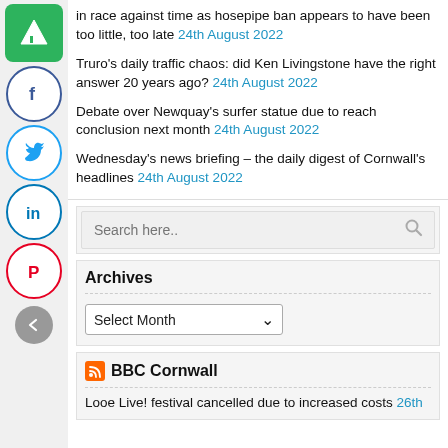in race against time as hosepipe ban appears to have been too little, too late 24th August 2022
Truro's daily traffic chaos: did Ken Livingstone have the right answer 20 years ago? 24th August 2022
Debate over Newquay's surfer statue due to reach conclusion next month 24th August 2022
Wednesday's news briefing – the daily digest of Cornwall's headlines 24th August 2022
Search here..
Archives
Select Month
BBC Cornwall
Looe Live! festival cancelled due to increased costs 26th